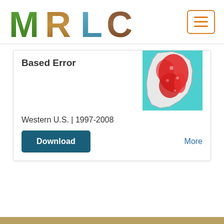MRLC
Based Error
[Figure (map): Map of the Western U.S. showing land cover data with red/pink areas indicating classification, turquoise water regions visible, white outline of the US West Coast region.]
Western U.S. | 1997-2008
Download
More